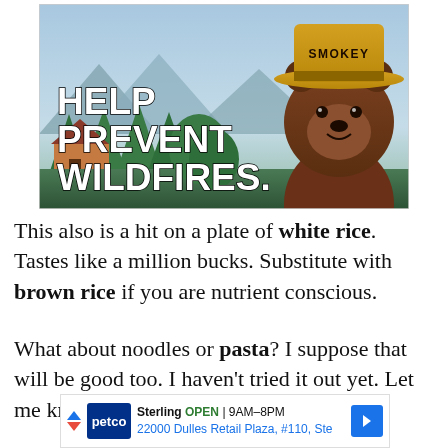[Figure (illustration): Smokey Bear animated character wearing a ranger hat labeled 'SMOKEY', set against a forest background. Large bold white text reads 'HELP PREVENT WILDFIRES.']
This also is a hit on a plate of white rice. Tastes like a million bucks. Substitute with brown rice if you are nutrient conscious.
What about noodles or pasta? I suppose that will be good too. I haven't tried it out yet. Let me know if you make it.
[Figure (screenshot): Petco ad banner: Sterling OPEN 9AM-8PM, 22000 Dulles Retail Plaza, #110, Ste]